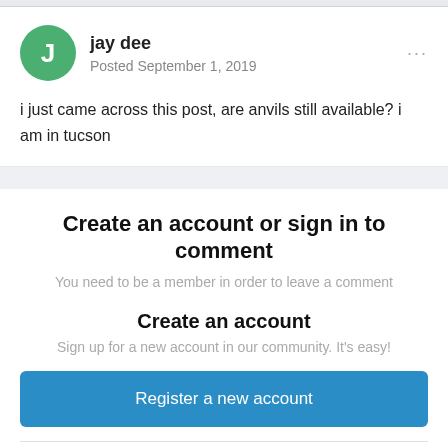jay dee
Posted September 1, 2019
i just came across this post, are anvils still available? i am in tucson
Create an account or sign in to comment
You need to be a member in order to leave a comment
Create an account
Sign up for a new account in our community. It's easy!
Register a new account
Sign in